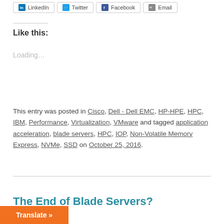[Figure (other): Social share buttons: LinkedIn, Twitter, Facebook, Email]
Like this:
Loading...
This entry was posted in Cisco, Dell - Dell EMC, HP-HPE, HPC, IBM, Performance, Virtualization, VMware and tagged application acceleration, blade servers, HPC, IOP, Non-Volatile Memory Express, NVMe, SSD on October 25, 2016.
The End of Blade Servers?